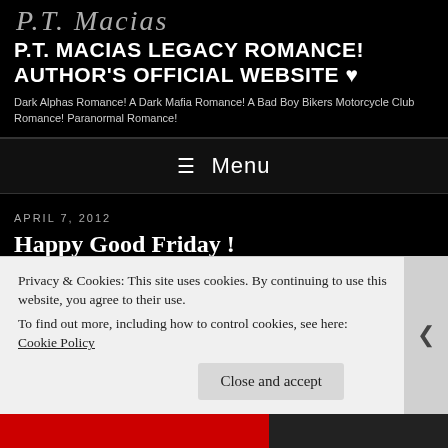P.T. Macias (cursive logo)
P.T. MACIAS LEGACY ROMANCE! AUTHOR'S OFFICIAL WEBSITE ♥
Dark Alphas Romance! A Dark Mafia Romance! A Bad Boy Bikers Motorcycle Club Romance! Paranormal Romance!
≡ Menu
APRIL 7, 2012
Happy Good Friday !
Happy Good Friday Everybody! Hope you enjoy with your family. 🙂
Privacy & Cookies: This site uses cookies. By continuing to use this website, you agree to their use.
To find out more, including how to control cookies, see here: Cookie Policy
Close and accept